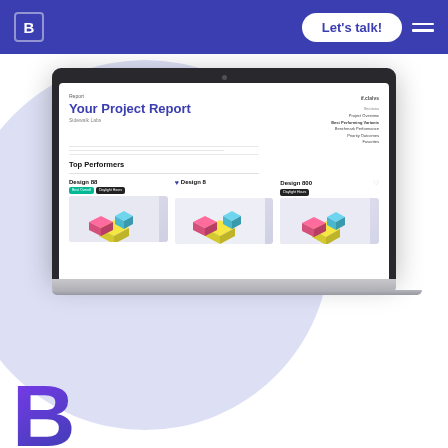Navigation bar with logo, Let's talk! button, and hamburger menu
[Figure (screenshot): Laptop mockup showing a project report UI with 'Your Project Report' title for Sidewalk Labs, Top Performers section showing Design 88 (Best Overall, Daylight Hours badges), Design 8 (heart icon), and Design 800 (Daylight Hours badge), each with 3D architectural thumbnail images]
[Figure (logo): Large stylized 'B' logo in purple/indigo gradient at bottom left]